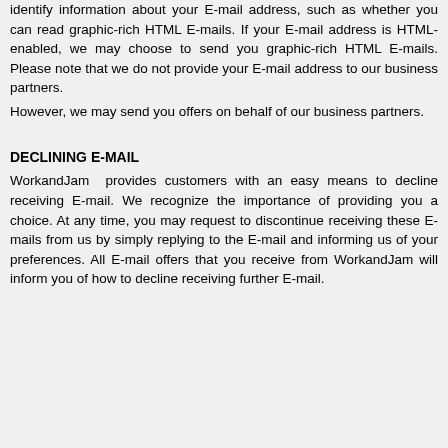identify information about your E-mail address, such as whether you can read graphic-rich HTML E-mails. If your E-mail address is HTML-enabled, we may choose to send you graphic-rich HTML E-mails. Please note that we do not provide your E-mail address to our business partners.
However, we may send you offers on behalf of our business partners.
DECLINING E-MAIL
WorkandJam  provides customers with an easy means to decline receiving E-mail. We recognize the importance of providing you a choice. At any time, you may request to discontinue receiving these E-mails from us by simply replying to the E-mail and informing us of your preferences. All E-mail offers that you receive from WorkandJam will inform you of how to decline receiving further E-mail.